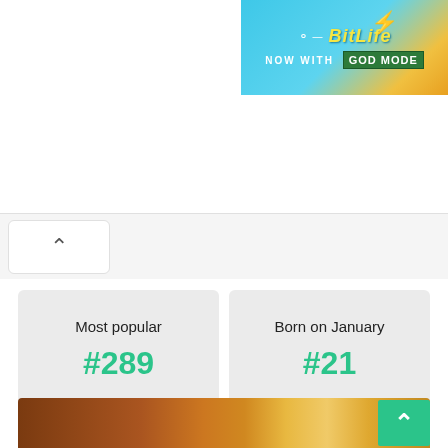[Figure (screenshot): BitLife advertisement banner reading 'NOW WITH GOD MODE' on a teal/blue background with lightning bolt graphic]
[Figure (screenshot): A tab with an upward caret/chevron arrow on a white card, part of a webpage UI]
Most popular
#289
Born on January
#21
[Figure (photo): Bottom photo strip showing dark reddish-brown rocky/wood texture on the left and warm golden glowing wavy texture on the right, with a teal scroll-to-top button overlay]